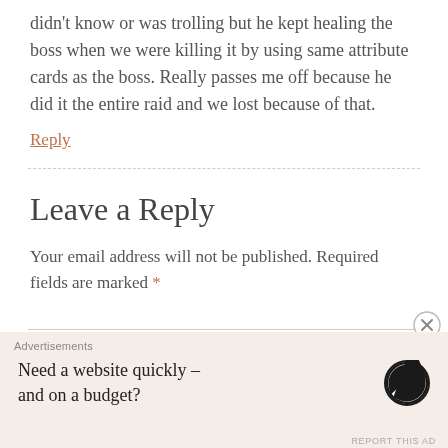didn't know or was trolling but he kept healing the boss when we were killing it by using same attribute cards as the boss. Really passes me off because he did it the entire raid and we lost because of that.
Reply
Leave a Reply
Your email address will not be published. Required fields are marked *
[Figure (other): Advertisement banner: WordPress logo with text 'Need a website quickly – and on a budget?']